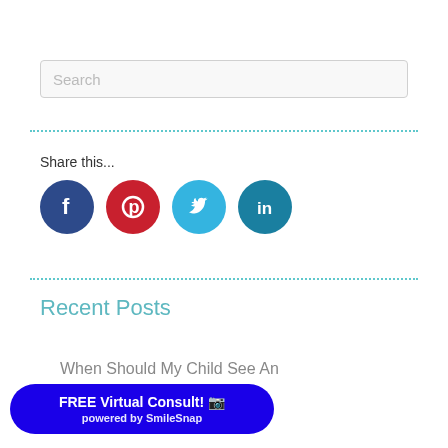[Figure (other): Search input box with placeholder text 'Search']
[Figure (other): Dotted teal horizontal divider line]
Share this...
[Figure (other): Social media share icons: Facebook (dark blue circle), Pinterest (red circle), Twitter (light blue circle), LinkedIn (teal circle)]
[Figure (other): Dotted teal horizontal divider line]
Recent Posts
When Should My Child See An
[Figure (other): Blue rounded button: FREE Virtual Consult! camera icon, powered by SmileSnap]